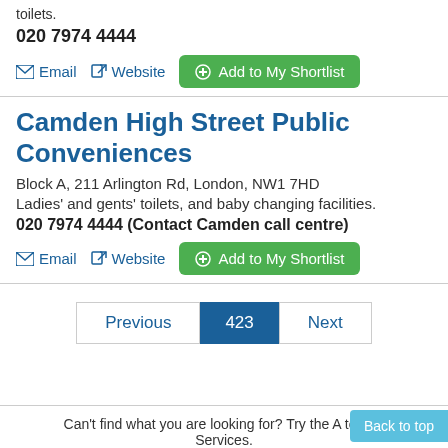toilets.
020 7974 4444
Email  Website  Add to My Shortlist
Camden High Street Public Conveniences
Block A, 211 Arlington Rd, London, NW1 7HD
Ladies' and gents' toilets, and baby changing facilities.
020 7974 4444 (Contact Camden call centre)
Email  Website  Add to My Shortlist
Previous  423  Next
Can't find what you are looking for? Try the A to Z of Services.
Back to top